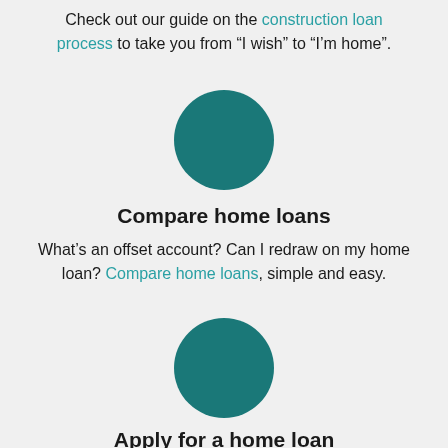Check out our guide on the construction loan process to take you from “I wish” to “I’m home”.
[Figure (illustration): Teal filled circle icon]
Compare home loans
What’s an offset account? Can I redraw on my home loan? Compare home loans, simple and easy.
[Figure (illustration): Teal filled circle icon]
Apply for a home loan
Book a time to speak with an IMB Bank home loan